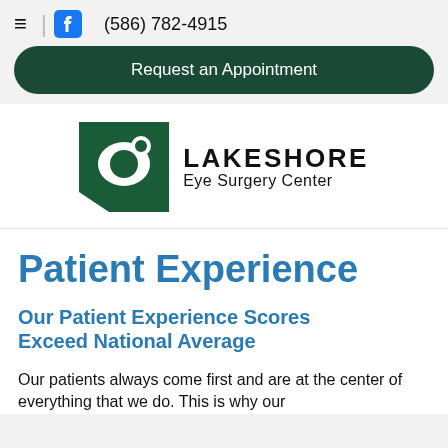≡ | [Facebook] (586) 782-4915
Request an Appointment
[Figure (logo): Lakeshore Eye Surgery Center logo: green square with circular cutout, next to bold text LAKESHORE Eye Surgery Center]
Patient Experience
Our Patient Experience Scores Exceed National Average
Our patients always come first and are at the center of everything that we do. This is why our